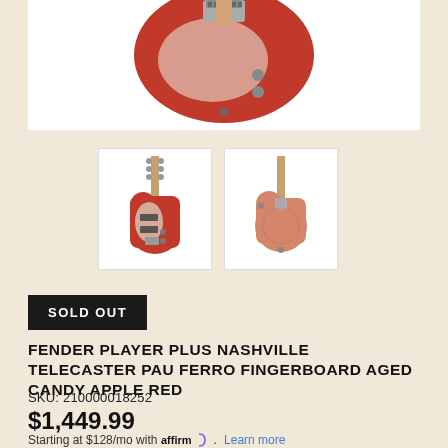[Figure (photo): Main product image of a Fender Telecaster electric guitar in Aged Candy Apple Red color on white background, top portion visible showing the guitar body with pickguard and bridge]
[Figure (photo): Two thumbnail images of the Fender Player Plus Nashville Telecaster: left thumbnail shows front view of guitar in red, right thumbnail shows back view in lighter orange/red]
SOLD OUT
FENDER PLAYER PLUS NASHVILLE TELECASTER PAU FERRO FINGERBOARD AGED CANDY APPLE RED
SKU: 210000018252
$1,449.99
Starting at $128/mo with affirm. Learn more